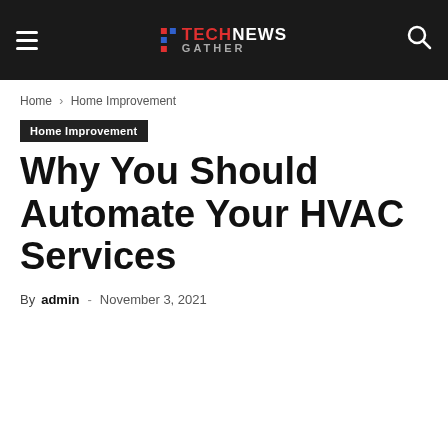TechNews Gather — site header with hamburger menu and search icon
Home › Home Improvement
Home Improvement
Why You Should Automate Your HVAC Services
By admin - November 3, 2021